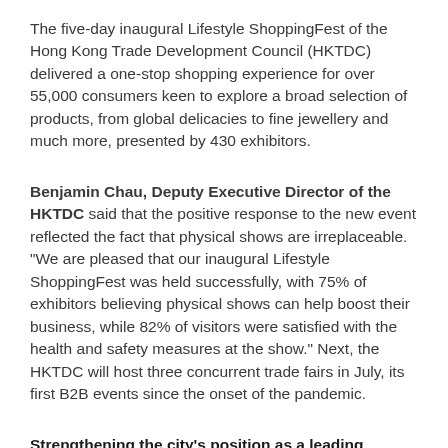The five-day inaugural Lifestyle ShoppingFest of the Hong Kong Trade Development Council (HKTDC) delivered a one-stop shopping experience for over 55,000 consumers keen to explore a broad selection of products, from global delicacies to fine jewellery and much more, presented by 430 exhibitors.
Benjamin Chau, Deputy Executive Director of the HKTDC said that the positive response to the new event reflected the fact that physical shows are irreplaceable. "We are pleased that our inaugural Lifestyle ShoppingFest was held successfully, with 75% of exhibitors believing physical shows can help boost their business, while 82% of visitors were satisfied with the health and safety measures at the show." Next, the HKTDC will host three concurrent trade fairs in July, its first B2B events since the onset of the pandemic.
Strengthening the city's position as a leading exhibition hub
The city's recent success in hosting physical events in a safe and